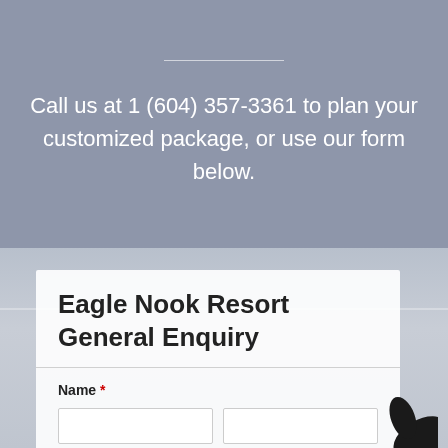Call us at 1 (604) 357-3361  to plan your customized package, or use our form below.
Eagle Nook Resort General Enquiry
Name *